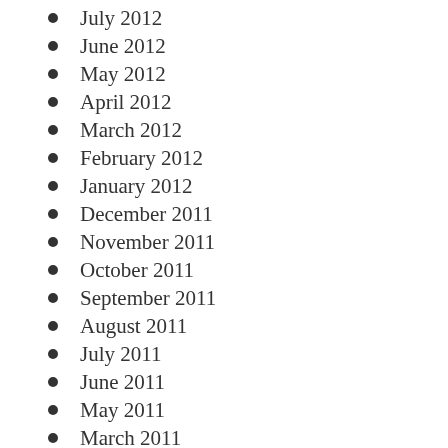July 2012
June 2012
May 2012
April 2012
March 2012
February 2012
January 2012
December 2011
November 2011
October 2011
September 2011
August 2011
July 2011
June 2011
May 2011
March 2011
January 2011